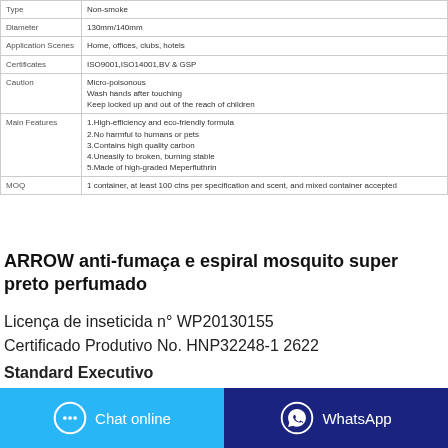| Field | Value |
| --- | --- |
| Type | Non-smoke |
| Diameter | 130mm/140mm |
| Application Scenes | Home, offices, clubs, hotels |
| Certificates | ISO9001,ISO14001,BV & GSP |
| Caution | Micro-poisonous
Wash hands after touching
Keep locked up and out of the reach of children |
| Main Features | 1.High-efficiency and eco-friendly formula
2.No harmful to humans or pets
3.Contains high quality carbon
4.Uneasily to broken, burning stable
5.Made of high-graded Meperfluthrin |
| MOQ | 1 container, at least 100 ctns per specification and scent, and mixed container accepted |
ARROW anti-fumaça e espiral mosquito super preto perfumado
Licença de inseticida nº WP20130155
Certificado Produtivo No. HNP32248-1 2622
Standard Executivo
Q / 320125 OG 20 (Esta é a frente)